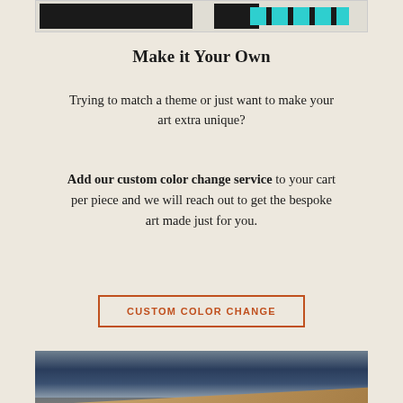[Figure (screenshot): Partial top image showing two side-by-side panels — left dark/black panel, right panel with teal/cyan striped pattern on dark background]
Make it Your Own
Trying to match a theme or just want to make your art extra unique?
Add our custom color change service to your cart per piece and we will reach out to get the bespoke art made just for you.
[Figure (screenshot): Button with orange border and text: CUSTOM COLOR CHANGE]
[Figure (photo): A pink/salmon colored sports car on a race track, with blue wall barriers and tan/brown track surface in background]